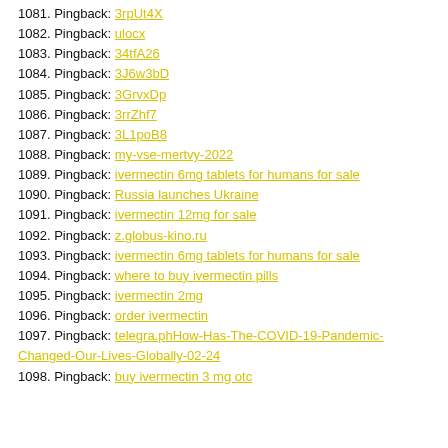1081. Pingback: 3rpUt4X
1082. Pingback: ulocx
1083. Pingback: 34tfA26
1084. Pingback: 3J6w3bD
1085. Pingback: 3GrvxDp
1086. Pingback: 3rrZhf7
1087. Pingback: 3L1poB8
1088. Pingback: my-vse-mertvy-2022
1089. Pingback: ivermectin 6mg tablets for humans for sale
1090. Pingback: Russia launches Ukraine
1091. Pingback: ivermectin 12mg for sale
1092. Pingback: z.globus-kino.ru
1093. Pingback: ivermectin 6mg tablets for humans for sale
1094. Pingback: where to buy ivermectin pills
1095. Pingback: ivermectin 2mg
1096. Pingback: order ivermectin
1097. Pingback: telegra.phHow-Has-The-COVID-19-Pandemic-Changed-Our-Lives-Globally-02-24
1098. Pingback: buy ivermectin 3 mg otc